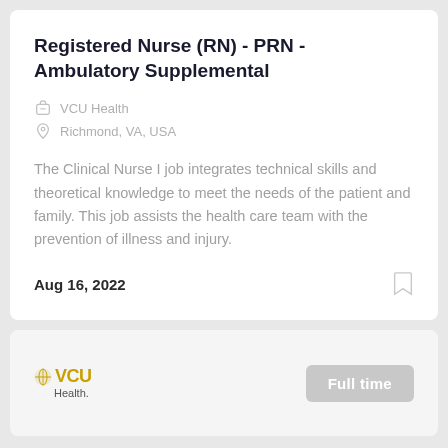Registered Nurse (RN) - PRN - Ambulatory Supplemental
VCU Health
Richmond, VA, USA
The Clinical Nurse I job integrates technical skills and theoretical knowledge to meet the needs of the patient and family. This job assists the health care team with the prevention of illness and injury.
Aug 16, 2022
[Figure (logo): VCU Health logo with globe icon, gold VCU text, and Health. subtitle]
Full time